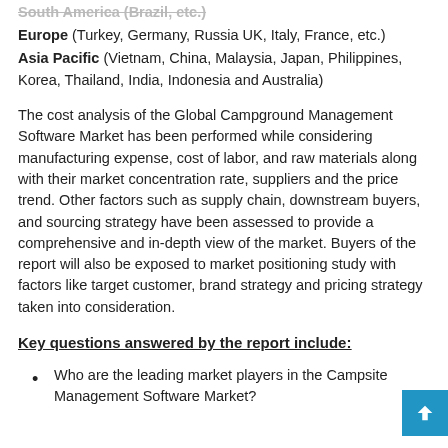Europe (Turkey, Germany, Russia UK, Italy, France, etc.)
Asia Pacific (Vietnam, China, Malaysia, Japan, Philippines, Korea, Thailand, India, Indonesia and Australia)
The cost analysis of the Global Campground Management Software Market has been performed while considering manufacturing expense, cost of labor, and raw materials along with their market concentration rate, suppliers and the price trend. Other factors such as supply chain, downstream buyers, and sourcing strategy have been assessed to provide a comprehensive and in-depth view of the market. Buyers of the report will also be exposed to market positioning study with factors like target customer, brand strategy and pricing strategy taken into consideration.
Key questions answered by the report include:
Who are the leading market players in the Campsite Management Software Market?